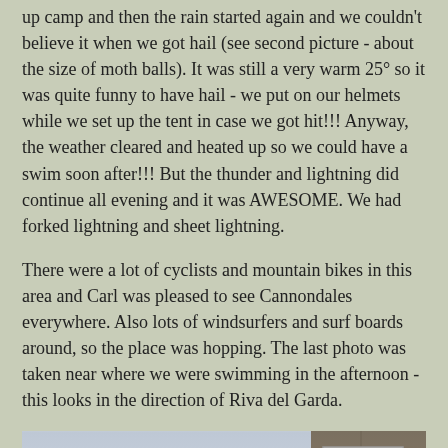up camp and then the rain started again and we couldn't believe it when we got hail (see second picture - about the size of moth balls). It was still a very warm 25° so it was quite funny to have hail - we put on our helmets while we set up the tent in case we got hit!!! Anyway, the weather cleared and heated up so we could have a swim soon after!!! But the thunder and lightning did continue all evening and it was AWESOME. We had forked lightning and sheet lightning.
There were a lot of cyclists and mountain bikes in this area and Carl was pleased to see Cannondales everywhere. Also lots of windsurfers and surf boards around, so the place was hopping. The last photo was taken near where we were swimming in the afternoon - this looks in the direction of Riva del Garda.
[Figure (photo): Outdoor photo showing a pale grey-blue sky on the left side and a stone/brick wall on the right side with a blue and white sign or plaque attached to it.]